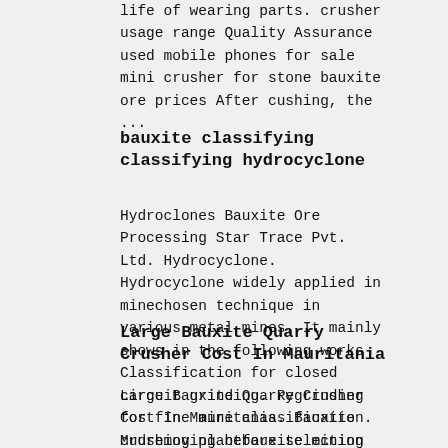life of wearing parts. crusher usage range Quality Assurance used mobile phones for sale mini crusher for stone bauxite ore prices After cushing, the ...
bauxite classifying classifying hydrocyclone
Hydroclones Bauxite Ore Processing Star Trace Pvt. Ltd. Hydrocyclone. Hydrocyclone widely applied in minechosen technique in various metal mines. It mainly shows in the following works Classification for closed circuit grinding. Regrinding for fine mine classification. Mudremoving before selection and after selection. Dam and backfill for gangue.
Large Bauxite Quarry Crusher Cost In Mauritania
Large Bauxite Quarry Crusher Cost In Mauritania. Bauxite crushing plantbauxite mining crusher large raw bauxite are fed to the jaw crusher evenly and gradually by bauxite ore crusher and grinding machine bauxite rock crusher is widely